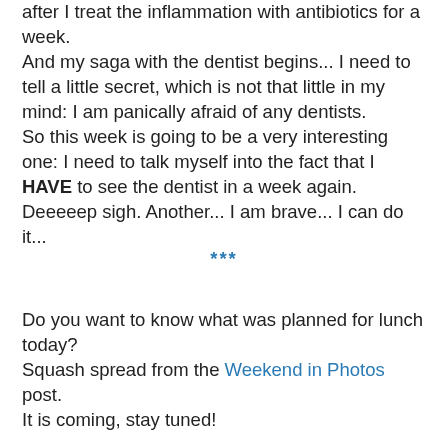after I treat the inflammation with antibiotics for a week.
And my saga with the dentist begins... I need to tell a little secret, which is not that little in my mind: I am panically afraid of any dentists.
So this week is going to be a very interesting one: I need to talk myself into the fact that I HAVE to see the dentist in a week again.
Deeeeep sigh. Another... I am brave... I can do it...
***
Do you want to know what was planned for lunch today?
Squash spread from the Weekend in Photos post.
It is coming, stay tuned!